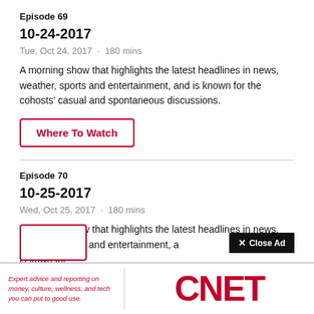Episode 69
10-24-2017
Tue, Oct 24, 2017  ·  180 mins
A morning show that highlights the latest headlines in news, weather, sports and entertainment, and is known for the cohosts' casual and spontaneous discussions.
Where To Watch
Episode 70
10-25-2017
Wed, Oct 25, 2017  ·  180 mins
A morning show that highlights the latest headlines in news, weather, sports and entertainment, and is known for the cohosts' casual and spontaneous discussions.
[Figure (screenshot): Close Ad button overlay on top of CNET advertisement banner. Banner shows 'Expert advice and reporting on money, culture, wellness, and tech you can put to good use.' with CNET logo in red.]